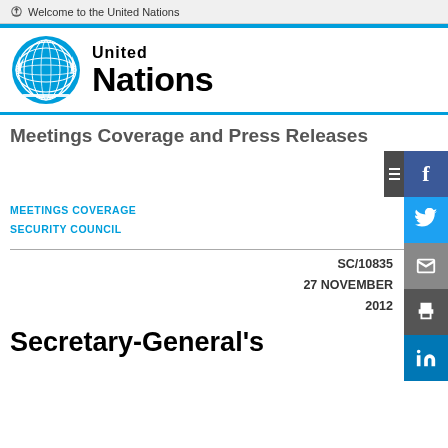Welcome to the United Nations
[Figure (logo): United Nations logo with globe emblem and text 'United Nations']
Meetings Coverage and Press Releases
MEETINGS COVERAGE
SECURITY COUNCIL
SC/10835
27 NOVEMBER
2012
Secretary-General's